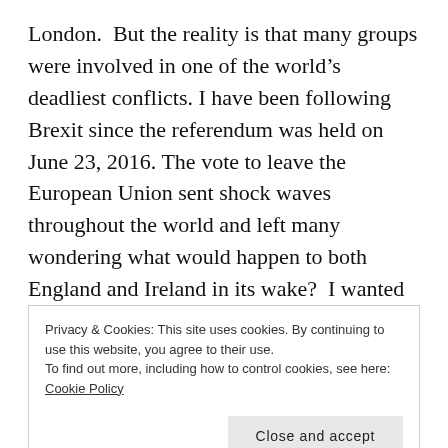London.  But the reality is that many groups were involved in one of the world's deadliest conflicts. I have been following Brexit since the referendum was held on June 23, 2016. The vote to leave the European Union sent shock waves throughout the world and left many wondering what would happen to both England and Ireland in its wake?  I wanted to know more about the conflict in Northern Ireland and decided on this book by author Peter Taylor.  And what I found
Privacy & Cookies: This site uses cookies. By continuing to use this website, you agree to their use.
To find out more, including how to control cookies, see here: Cookie Policy
Taylor explains early in the book that his first